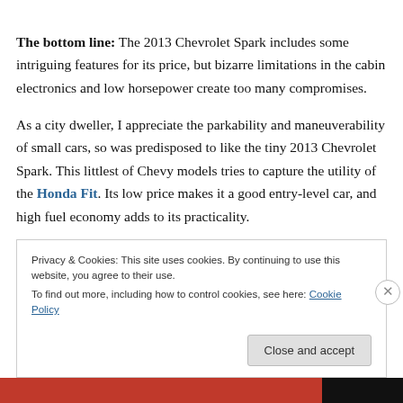The bottom line: The 2013 Chevrolet Spark includes some intriguing features for its price, but bizarre limitations in the cabin electronics and low horsepower create too many compromises.
As a city dweller, I appreciate the parkability and maneuverability of small cars, so was predisposed to like the tiny 2013 Chevrolet Spark. This littlest of Chevy models tries to capture the utility of the Honda Fit. Its low price makes it a good entry-level car, and high fuel economy adds to its practicality.
Privacy & Cookies: This site uses cookies. By continuing to use this website, you agree to their use. To find out more, including how to control cookies, see here: Cookie Policy